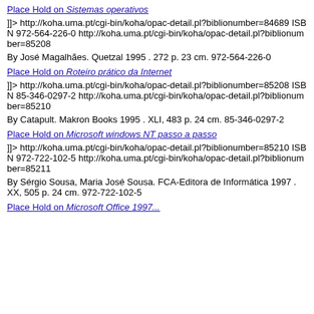Place Hold on Sistemas operativos
]]> http://koha.uma.pt/cgi-bin/koha/opac-detail.pl?biblionumber=84689 ISBN 972-564-226-0 http://koha.uma.pt/cgi-bin/koha/opac-detail.pl?biblionumber=85208
By José Magalhães. Quetzal 1995 . 272 p. 23 cm. 972-564-226-0
Place Hold on Roteiro prático da Internet
]]> http://koha.uma.pt/cgi-bin/koha/opac-detail.pl?biblionumber=85208 ISBN 85-346-0297-2 http://koha.uma.pt/cgi-bin/koha/opac-detail.pl?biblionumber=85210
By Catapult. Makron Books 1995 . XLI, 483 p. 24 cm. 85-346-0297-2
Place Hold on Microsoft windows NT passo a passo
]]> http://koha.uma.pt/cgi-bin/koha/opac-detail.pl?biblionumber=85210 ISBN 972-722-102-5 http://koha.uma.pt/cgi-bin/koha/opac-detail.pl?biblionumber=85211
By Sérgio Sousa, Maria José Sousa. FCA-Editora de Informática 1997 . XX, 505 p. 24 cm. 972-722-102-5
Place Hold on Microsoft Office 1997...